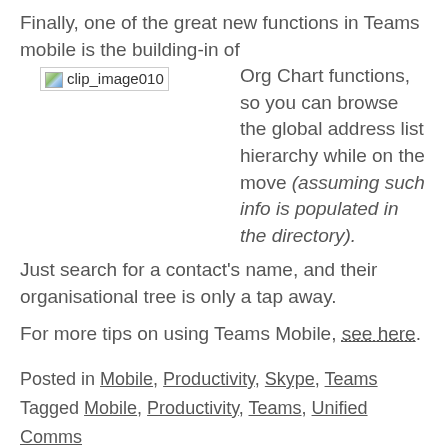Finally, one of the great new functions in Teams mobile is the building-in of
[Figure (other): Broken/missing image placeholder labeled clip_image010]
Org Chart functions, so you can browse the global address list hierarchy while on the move (assuming such info is populated in the directory).
Just search for a contact’s name, and their organisational tree is only a tap away.
For more tips on using Teams Mobile, see here.
Posted in Mobile, Productivity, Skype, Teams
Tagged Mobile, Productivity, Teams, Unified Comms